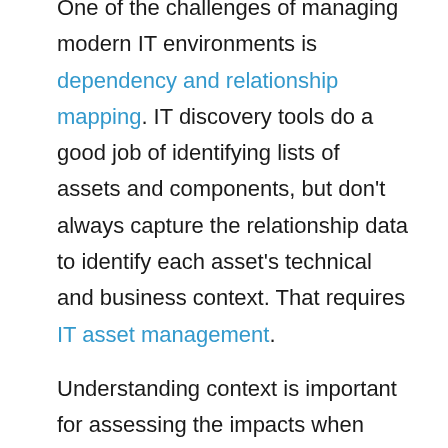One of the challenges of managing modern IT environments is dependency and relationship mapping. IT discovery tools do a good job of identifying lists of assets and components, but don't always capture the relationship data to identify each asset's technical and business context. That requires IT asset management.
Understanding context is important for assessing the impacts when components break and systems malfunction, implementing changes safely/effectively, and diagnosing the root cause of problems.